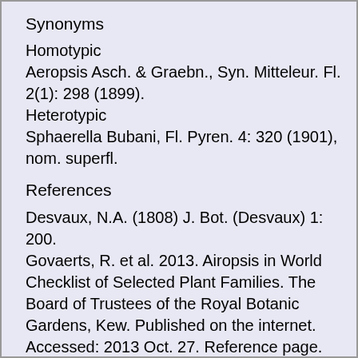Synonyms
Homotypic
Aeropsis Asch. & Graebn., Syn. Mitteleur. Fl. 2(1): 298 (1899).
Heterotypic
Sphaerella Bubani, Fl. Pyren. 4: 320 (1901), nom. superfl.
References
Desvaux, N.A. (1808) J. Bot. (Desvaux) 1: 200.
Govaerts, R. et al. 2013. Airopsis in World Checklist of Selected Plant Families. The Board of Trustees of the Royal Botanic Gardens, Kew. Published on the internet. Accessed: 2013 Oct. 27. Reference page.
Simon, B.K., Clayton, W.D., Harman, K.T., Vorontsova, M., Brake, I., Healy, D. & Alfonso, Y. 2013. GrassWorld, Airopsis. Published on the internet. Accessed: 2013 Oct. 27.
Tropicos.org 2013. Airopsis. Missouri Botanical Garden. Published on the